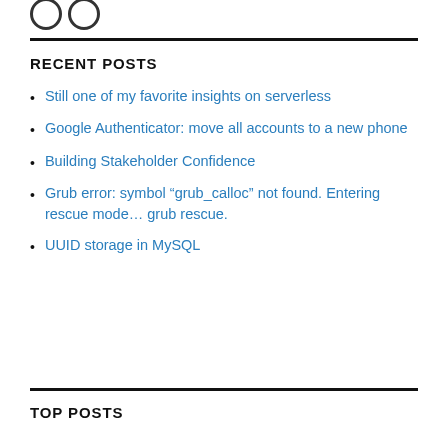[Figure (logo): Two partial circle logo shapes at top left]
RECENT POSTS
Still one of my favorite insights on serverless
Google Authenticator: move all accounts to a new phone
Building Stakeholder Confidence
Grub error: symbol “grub_calloc” not found. Entering rescue mode… grub rescue.
UUID storage in MySQL
TOP POSTS